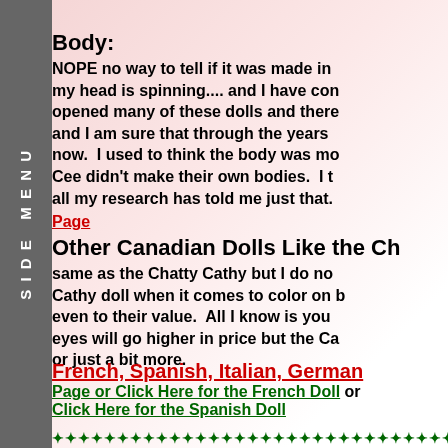SIDE MENU
[Figure (photo): A doll image serving as background, pinkish tones]
Body:
NOPE no way to tell if it was made in my head is spinning.... and I have con opened many of these dolls and there and I am sure that through the years now.  I used to think the body was mo Cee didn't make their own bodies.  I t all my research has told me just that.
Page
Other Canadian Dolls Like the Ch
same as the Chatty Cathy but I do no Cathy doll when it comes to color on b even to their value.  All I know is you eyes will go higher in price but the Ca or just a bit more.
French, Spanish, Italian, German
Page or Click Here for the French Doll or Click Here for the Spanish Doll
***********************************************